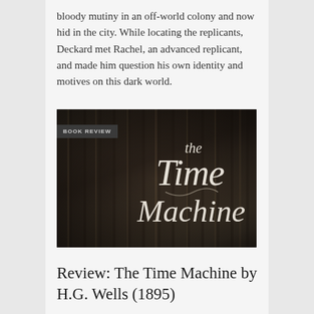bloody mutiny in an off-world colony and now hid in the city. While locating the replicants, Deckard met Rachel, an advanced replicant, and made him question his own identity and motives on this dark world.
[Figure (illustration): Book review banner image for 'The Time Machine'. Dark photographic image of old books on shelves with stylized serif text overlay reading 'the Time Machine'. A dark badge in the top-left corner reads 'BOOK REVIEW'.]
Review: The Time Machine by H.G. Wells (1895)
The Time Traveler, obsessed with time, created a time machine and traveled 800 thousand years